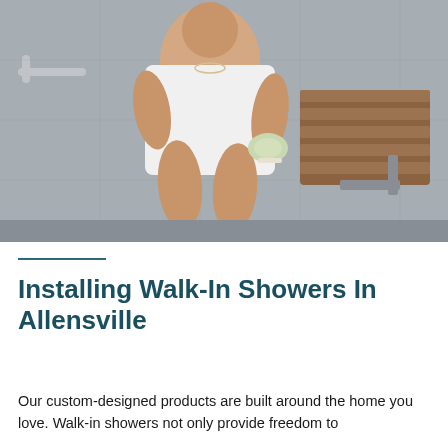[Figure (photo): An older woman wrapped in a white towel sitting on a fold-down wooden shower bench, holding a green loofah sponge, with gray stone-look shower walls and metal grab bars visible in the background.]
Installing Walk-In Showers In Allensville
Our custom-designed products are built around the home you love. Walk-in showers not only provide freedom to